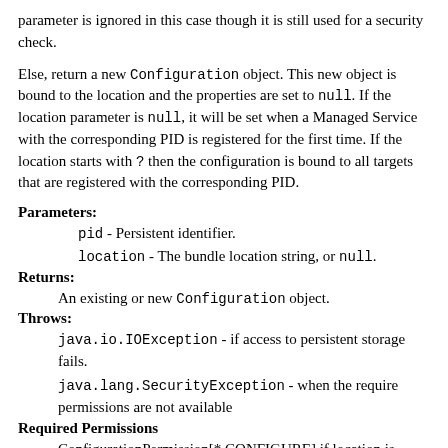parameter is ignored in this case though it is still used for a security check.
Else, return a new Configuration object. This new object is bound to the location and the properties are set to null. If the location parameter is null, it will be set when a Managed Service with the corresponding PID is registered for the first time. If the location starts with ? then the configuration is bound to all targets that are registered with the corresponding PID.
Parameters:
pid - Persistent identifier.
location - The bundle location string, or null.
Returns:
An existing or new Configuration object.
Throws:
java.io.IOException - if access to persistent storage fails.
java.lang.SecurityException - when the require permissions are not available
Required Permissions
ConfigurationPermission[*,CONFIGURE] if location is null or if the returned configuration c already exists and c.location is null,